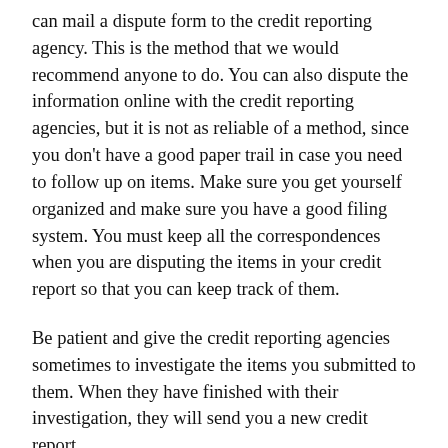can mail a dispute form to the credit reporting agency. This is the method that we would recommend anyone to do. You can also dispute the information online with the credit reporting agencies, but it is not as reliable of a method, since you don't have a good paper trail in case you need to follow up on items. Make sure you get yourself organized and make sure you have a good filing system. You must keep all the correspondences when you are disputing the items in your credit report so that you can keep track of them.
Be patient and give the credit reporting agencies sometimes to investigate the items you submitted to them. When they have finished with their investigation, they will send you a new credit report.
Now, make sure you go through the new credit report thoroughly and make sure you compare it with your old credit report. Some of the negative items should be disappeared. Again, don't be